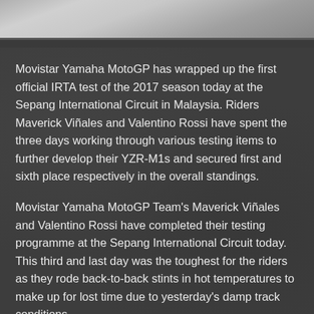[Figure (photo): Top portion of a MotoGP racing photo showing a motorcycle on track, partially cropped at the top edge of the page]
Movistar Yamaha MotoGP has wrapped up the first official IRTA test of the 2017 season today at the Sepang International Circuit in Malaysia. Riders Maverick Viñales and Valentino Rossi have spent the three days working through various testing items to further develop their YZR-M1s and secured first and sixth place respectively in the overall standings.
Movistar Yamaha MotoGP Team's Maverick Viñales and Valentino Rossi have completed their testing programme at the Sepang International Circuit today. This third and last day was the toughest for the riders as they rode back-to-back stints in hot temperatures to make up for lost time due to yesterday's damp track conditions.